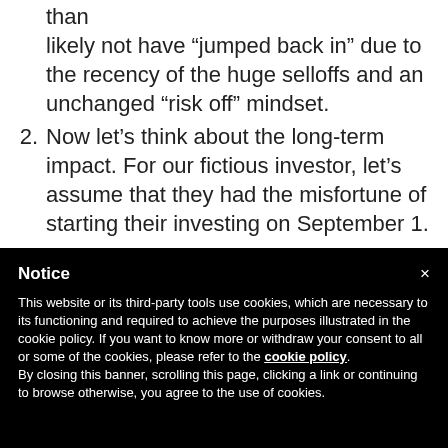than likely not have “jumped back in” due to the recency of the huge selloffs and an unchanged “risk off” mindset.
Now let’s think about the long-term impact. For our fictious investor, let’s assume that they had the misfortune of starting their investing on September 1.
Notice
This website or its third-party tools use cookies, which are necessary to its functioning and required to achieve the purposes illustrated in the cookie policy. If you want to know more or withdraw your consent to all or some of the cookies, please refer to the cookie policy.
By closing this banner, scrolling this page, clicking a link or continuing to browse otherwise, you agree to the use of cookies.